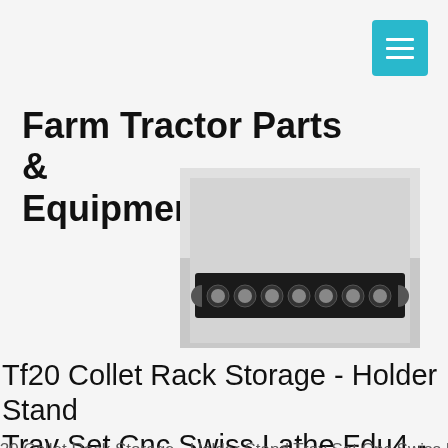Farm Tractor Parts & Equipment
[Figure (photo): Black collet rack storage holder strip with multiple circular holes/collets visible against a grey background]
Tf20 Collet Rack Storage - Holder Stand Tray Set Cnc Swiss Lathe Fdu4 - $26.95
f20 Collet Rack Storage - Holder Stand Tray Set Cnc Swiss Lathe Fdu
[Figure (photo): Book cover for 'Encyclopedia of Compacts' showing face powder boxes and carryalls]